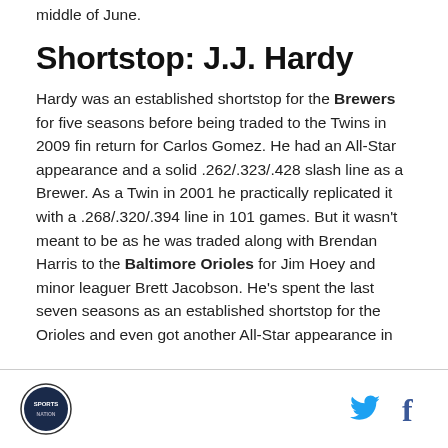middle of June.
Shortstop: J.J. Hardy
Hardy was an established shortstop for the Brewers for five seasons before being traded to the Twins in 2009 fin return for Carlos Gomez. He had an All-Star appearance and a solid .262/.323/.428 slash line as a Brewer. As a Twin in 2001 he practically replicated it with a .268/.320/.394 line in 101 games. But it wasn't meant to be as he was traded along with Brendan Harris to the Baltimore Orioles for Jim Hoey and minor leaguer Brett Jacobson. He's spent the last seven seasons as an established shortstop for the Orioles and even got another All-Star appearance in
Logo and social media icons